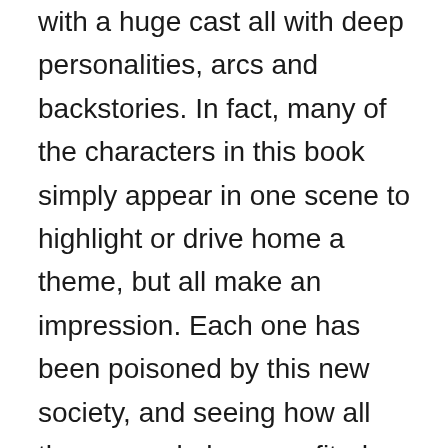with a huge cast all with deep personalities, arcs and backstories. In fact, many of the characters in this book simply appear in one scene to highlight or drive home a theme, but all make an impression. Each one has been poisoned by this new society, and seeing how all these people have profited, lost, found pleasure in or so have simply been broken from the consumption of human meat and the various other now legalised trades, it keeps the novella fresh, and strangely hungry to find out more.
This book is not for the faint of heart. I have